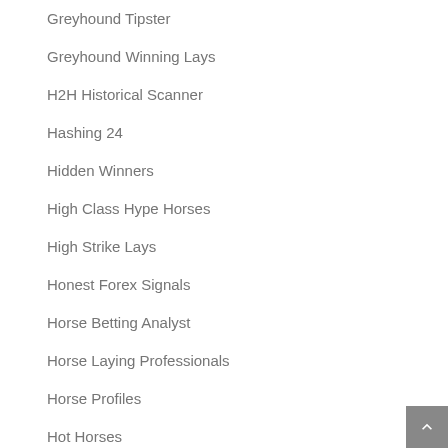Greyhound Tipster
Greyhound Winning Lays
H2H Historical Scanner
Hashing 24
Hidden Winners
High Class Hype Horses
High Strike Lays
Honest Forex Signals
Horse Betting Analyst
Horse Laying Professionals
Horse Profiles
Hot Horses
Houghton's Hot Bets
Houghton's Hot Horses